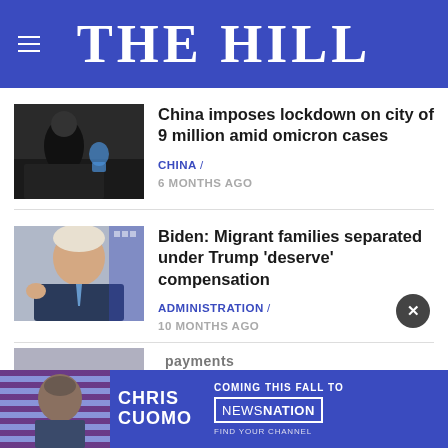THE HILL
China imposes lockdown on city of 9 million amid omicron cases
CHINA / 6 MONTHS AGO
Biden: Migrant families separated under Trump ‘deserve’ compensation
ADMINISTRATION / 10 MONTHS AGO
[Figure (screenshot): Advertisement banner: Chris Cuomo coming this fall to NewsNation]